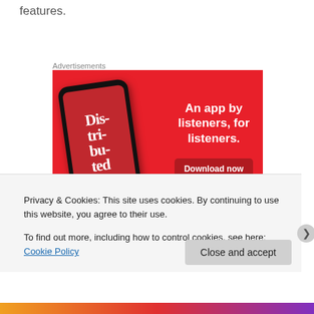features.
Advertisements
[Figure (photo): Advertisement banner showing a red background with a smartphone displaying a podcast app. Text reads: 'An app by listeners, for listeners.' with a 'Download now' button.]
Privacy & Cookies: This site uses cookies. By continuing to use this website, you agree to their use.
To find out more, including how to control cookies, see here: Cookie Policy
Close and accept